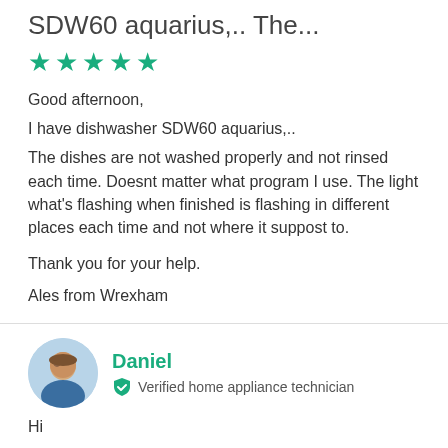SDW60 aquarius,.. The...
★★★★★
Good afternoon,
I have dishwasher SDW60 aquarius,..
The dishes are not washed properly and not rinsed each time. Doesnt matter what program I use. The light what's flashing when finished is flashing in different places each time and not where it suppost to.
Thank you for your help.
Ales from Wrexham
Daniel
Verified home appliance technician
Hi
Are you getting any flshing lights on it?